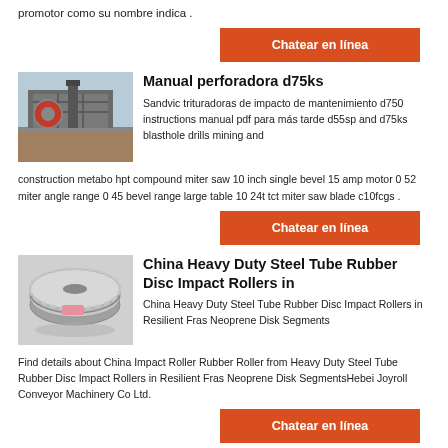promotor como su nombre indica .
Chatear en línea
Manual perforadora d75ks
[Figure (photo): Industrial mining equipment, crusher or drill machine outdoors]
Sandvic trituradoras de impacto de mantenimiento d750 instructions manual pdf para más tarde d55sp and d75ks blasthole drills mining and construction metabo hpt compound miter saw 10 inch single bevel 15 amp motor 0 52 miter angle range 0 45 bevel range large table 10 24t tct miter saw blade c10fcgs .
Chatear en línea
China Heavy Duty Steel Tube Rubber Disc Impact Rollers in
[Figure (photo): Rubber disc impact roller wrapped in plastic, industrial conveyor part]
China Heavy Duty Steel Tube Rubber Disc Impact Rollers in Resilient Fras Neoprene Disk Segments Find details about China Impact Roller Rubber Roller from Heavy Duty Steel Tube Rubber Disc Impact Rollers in Resilient Fras Neoprene Disk SegmentsHebei Joyroll Conveyor Machinery Co Ltd.
Chatear en línea